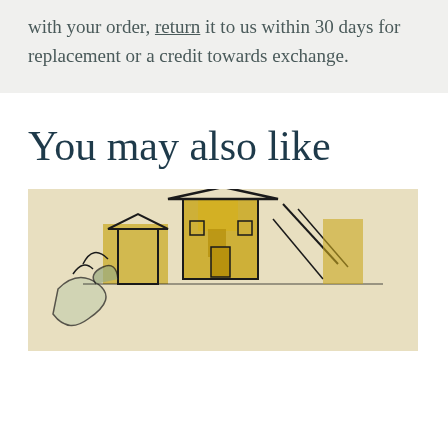with your order, return it to us within 30 days for replacement or a credit towards exchange.
You may also like
[Figure (illustration): Sketch illustration of a building/church with yellow painted areas, drawn in a loose ink style on a beige background. Architectural drawing with yellow color-block highlights showing a house or chapel structure with surrounding elements.]